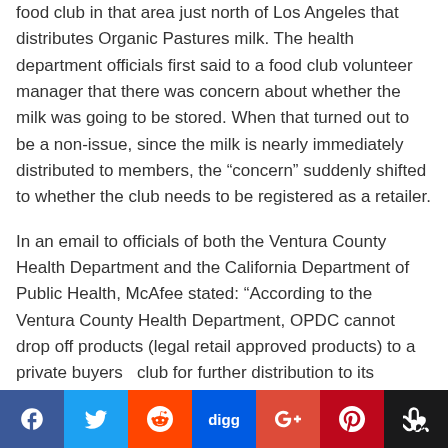food club in that area just north of Los Angeles that distributes Organic Pastures milk. The health department officials first said to a food club volunteer manager that there was concern about whether the milk was going to be stored. When that turned out to be a non-issue, since the milk is nearly immediately distributed to members, the “concern” suddenly shifted to whether the club needs to be registered as a retailer.
In an email to officials of both the Ventura County Health Department and the California Department of Public Health, McAfee stated: “According to the Ventura County Health Department, OPDC cannot drop off products (legal retail approved products) to a private buyers   club for further distribution to its members. The club we are speaking of is a group of moms that want raw milk dropped by the OPDC farm
[Figure (other): Social sharing bar with icons for Facebook, Twitter, Reddit, Digg, Google+, Pinterest, and StumbleUpon]